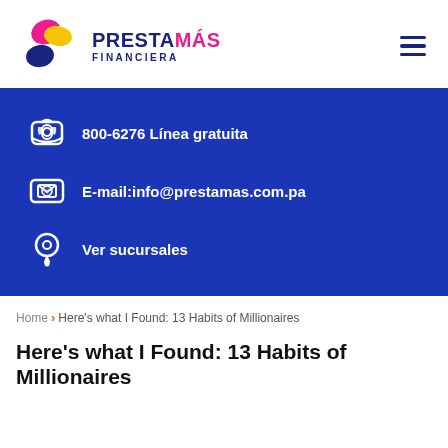[Figure (logo): PrestaMás Financiera logo with colorful abstract shape and bold blue text]
800-6276 Línea gratuita
E-mail:info@prestamas.com.pa
Ver sucursales
Home › Here's what I Found: 13 Habits of Millionaires
Here's what I Found: 13 Habits of Millionaires